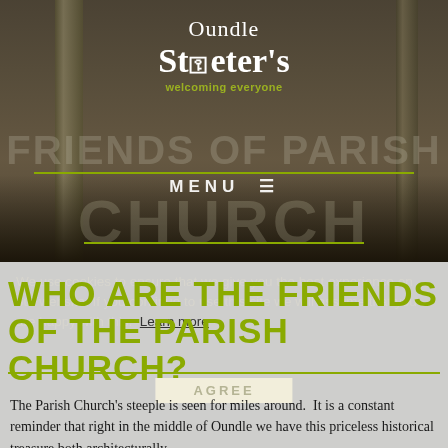[Figure (photo): Interior of Oundle St Peter's Parish Church, showing stone columns, wooden pews in a dark atmospheric setting]
Oundle St Peter's welcoming everyone
FRIENDS OF PARISH
MENU = CHURCH
We use cookies to ensure that we give you the best experience on our website. If you continue to use this site we will assume that you are happy with this.  Learn more
WHO ARE THE FRIENDS OF THE PARISH CHURCH?
AGREE
The Parish Church's steeple is seen for miles around.  It is a constant reminder that right in the middle of Oundle we have this priceless historical treasure both architecturally